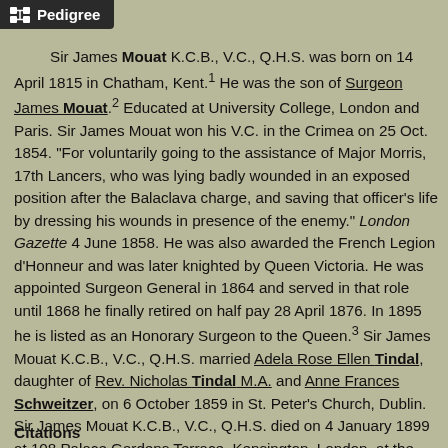Pedigree
Sir James Mouat K.C.B., V.C., Q.H.S. was born on 14 April 1815 in Chatham, Kent.¹ He was the son of Surgeon James Mouat.² Educated at University College, London and Paris. Sir James Mouat won his V.C. in the Crimea on 25 Oct. 1854. "For voluntarily going to the assistance of Major Morris, 17th Lancers, who was lying badly wounded in an exposed position after the Balaclava charge, and saving that officer's life by dressing his wounds in presence of the enemy." London Gazette 4 June 1858. He was also awarded the French Legion d'Honneur and was later knighted by Queen Victoria. He was appointed Surgeon General in 1864 and served in that role until 1868 he finally retired on half pay 28 April 1876. In 1895 he is listed as an Honorary Surgeon to the Queen.³ Sir James Mouat K.C.B., V.C., Q.H.S. married Adela Rose Ellen Tindal, daughter of Rev. Nicholas Tindal M.A. and Anne Frances Schweitzer, on 6 October 1859 in St. Peter's Church, Dublin. Sir James Mouat K.C.B., V.C., Q.H.S. died on 4 January 1899 at 108 Palace Gardens Terrace, Kensington, London, at the age of 83.⁴ He was buried in Kensal Green Cemetery.
Citations